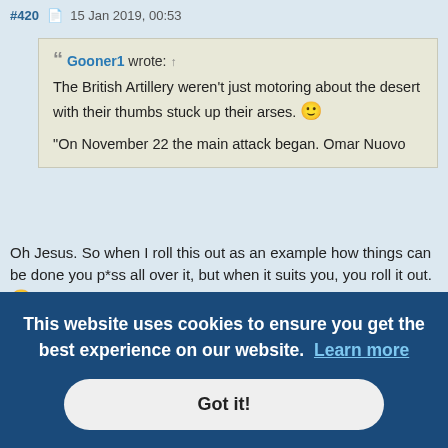#420  15 Jan 2019, 00:53
Gooner1 wrote: ↑

The British Artillery weren't just motoring about the desert with their thumbs stuck up their arses. 🙂

"On November 22 the main attack began. Omar Nuovo
Oh Jesus. So when I roll this out as an example how things can be done you p*ss all over it, but when it suits you, you roll it out. 😒
Also, despite all your expertise, you seem to be unaware that this was an I-tank attack with the tanks subordinated to an infantry brigade. It does [...]king
[...] and time
[...] d, they had larger calibre guns with nearly twice the effective range of ours, and their telescopes
This website uses cookies to ensure you get the best experience on our website. Learn more
Got it!